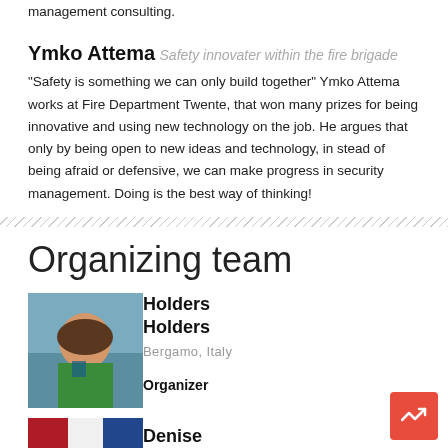management consulting.
Ymko Attema
Safety innovater within the fire brigade
“Safety is something we can only build together” Ymko Attema works at Fire Department Twente, that won many prizes for being innovative and using new technology on the job. He argues that only by being open to new ideas and technology, in stead of being afraid or defensive, we can make progress in security management. Doing is the best way of thinking!
Organizing team
[Figure (photo): Photo of Holders Holders, a woman with curly hair wearing a green top, outdoors.]
Holders Holders
Bergamo, Italy
Organizer
[Figure (photo): Partial photo showing a flag, likely Dutch flag.]
Denise